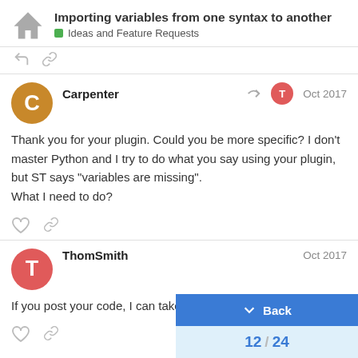Importing variables from one syntax to another — Ideas and Feature Requests
Carpenter Oct 2017
Thank you for your plugin. Could you be more specific? I don't master Python and I try to do what you say using your plugin, but ST says "variables are missing".
What I need to do?
ThomSmith Oct 2017
If you post your code, I can take a look at it.